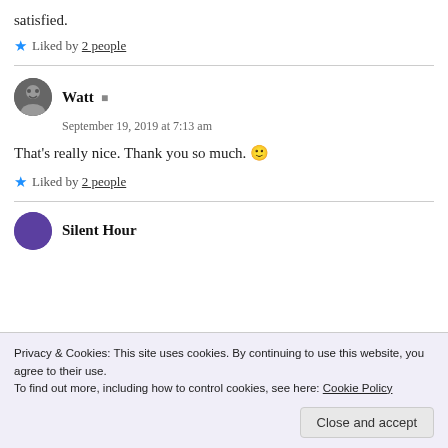satisfied.
★ Liked by 2 people
Watt  September 19, 2019 at 7:13 am
That's really nice. Thank you so much. 🙂
★ Liked by 2 people
Silent Hour
Privacy & Cookies: This site uses cookies. By continuing to use this website, you agree to their use. To find out more, including how to control cookies, see here: Cookie Policy
Close and accept